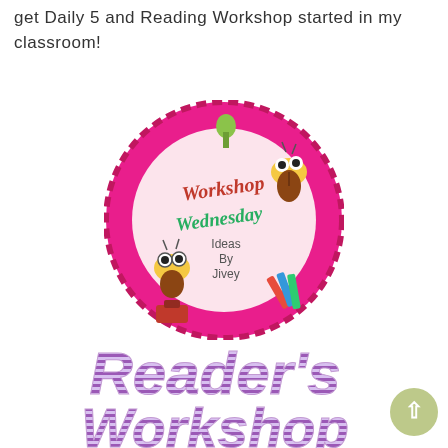get Daily 5 and Reading Workshop started in my classroom!
[Figure (logo): Workshop Wednesday Ideas By Jivey logo — circular badge with hot pink border, pink interior, cartoon bug characters, push pin, and crayons]
Reader's Workshop